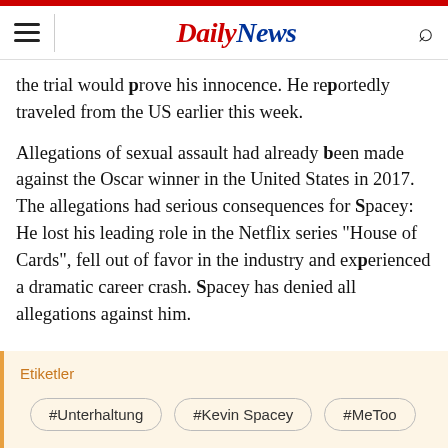Daily News
the trial would prove his innocence. He reportedly traveled from the US earlier this week.
Allegations of sexual assault had already been made against the Oscar winner in the United States in 2017. The allegations had serious consequences for Spacey: He lost his leading role in the Netflix series "House of Cards", fell out of favor in the industry and experienced a dramatic career crash. Spacey has denied all allegations against him.
Etiketler
#Unterhaltung
#Kevin Spacey
#MeToo